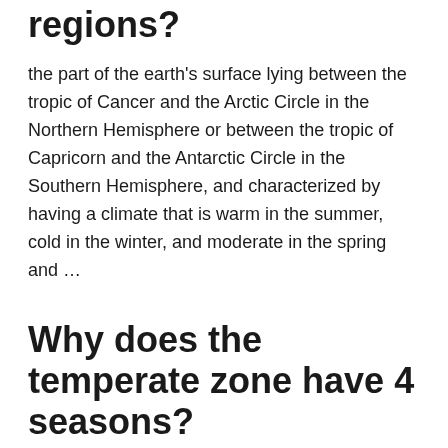regions?
the part of the earth's surface lying between the tropic of Cancer and the Arctic Circle in the Northern Hemisphere or between the tropic of Capricorn and the Antarctic Circle in the Southern Hemisphere, and characterized by having a climate that is warm in the summer, cold in the winter, and moderate in the spring and …
Why does the temperate zone have 4 seasons?
In geography, temperate latitudes of the Earth lie between the subtropics and the polar circles. Average yearly temperatures in